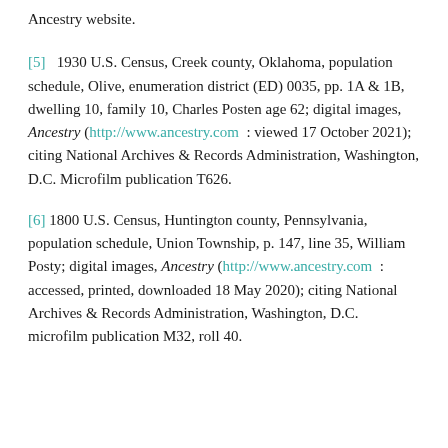Ancestry website.
[5]   1930 U.S. Census, Creek county, Oklahoma, population schedule, Olive, enumeration district (ED) 0035, pp. 1A & 1B, dwelling 10, family 10, Charles Posten age 62; digital images, Ancestry (http://www.ancestry.com : viewed 17 October 2021); citing National Archives & Records Administration, Washington, D.C. Microfilm publication T626.
[6] 1800 U.S. Census, Huntington county, Pennsylvania, population schedule, Union Township, p. 147, line 35, William Posty; digital images, Ancestry (http://www.ancestry.com : accessed, printed, downloaded 18 May 2020); citing National Archives & Records Administration, Washington, D.C. microfilm publication M32, roll 40.